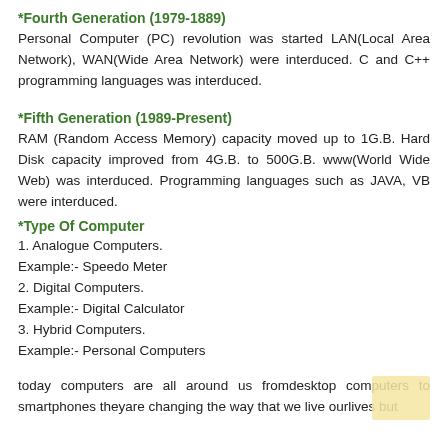*Fourth Generation (1979-1889)
Personal Computer (PC) revolution was started LAN(Local Area Network), WAN(Wide Area Network) were interduced. C and C++ programming languages was interduced.
*Fifth Generation (1989-Present)
RAM (Random Access Memory) capacity moved up to 1G.B. Hard Disk capacity improved from 4G.B. to 500G.B. www(World Wide Web) was interduced. Programming languages such as JAVA, VB were interduced.
*Type Of Computer
1. Analogue Computers.
Example:- Speedo Meter
2. Digital Computers.
Example:- Digital Calculator
3. Hybrid Computers.
Example:- Personal Computers
today computers are all around us fromdesktop computers to smartphones theyare changing the way that we live ourlives but